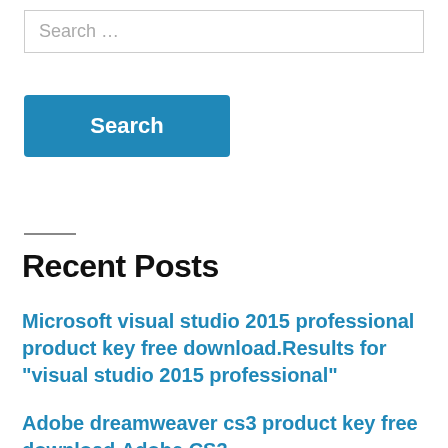Search …
Search
Recent Posts
Microsoft visual studio 2015 professional product key free download.Results for “visual studio 2015 professional”
Adobe dreamweaver cs3 product key free download.Adobe CS3